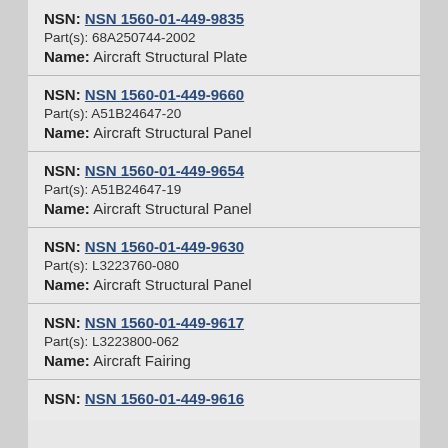NSN: NSN 1560-01-449-9835
Part(s): 68A250744-2002
Name: Aircraft Structural Plate
NSN: NSN 1560-01-449-9660
Part(s): A51B24647-20
Name: Aircraft Structural Panel
NSN: NSN 1560-01-449-9654
Part(s): A51B24647-19
Name: Aircraft Structural Panel
NSN: NSN 1560-01-449-9630
Part(s): L3223760-080
Name: Aircraft Structural Panel
NSN: NSN 1560-01-449-9617
Part(s): L3223800-062
Name: Aircraft Fairing
NSN: NSN 1560-01-449-9616